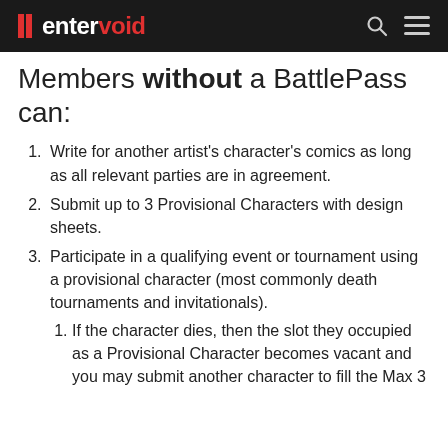entervoid
Members without a BattlePass can:
Write for another artist's character's comics as long as all relevant parties are in agreement.
Submit up to 3 Provisional Characters with design sheets.
Participate in a qualifying event or tournament using a provisional character (most commonly death tournaments and invitationals).
If the character dies, then the slot they occupied as a Provisional Character becomes vacant and you may submit another character to fill the Max 3